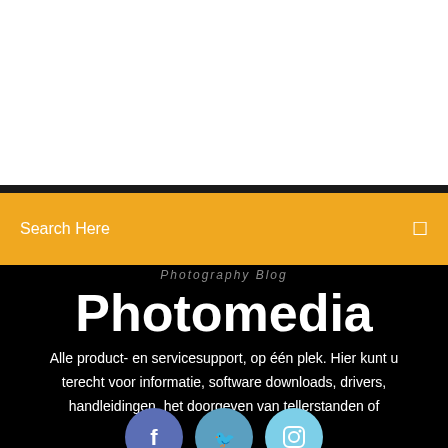Search Here
Photography Blog
Photomedia
Alle product- en servicesupport, op één plek. Hier kunt u terecht voor informatie, software downloads, drivers, handleidingen, het doorgeven van tellerstanden of
[Figure (illustration): Social media icons: Facebook, Twitter, Instagram as colored circles]